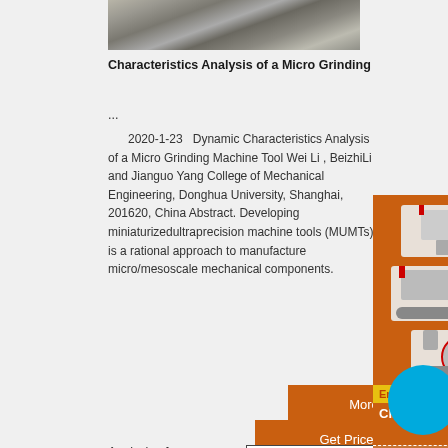[Figure (photo): Photo of crushed rock/stone material, appears to be grinding or mining site]
Characteristics Analysis of a Micro Grinding
...
2020-1-23   Dynamic Characteristics Analysis of a Micro Grinding Machine Tool Wei Li , BeizhiLi and Jianguo Yang College of Mechanical Engineering, Donghua University, Shanghai, 201620, China Abstract. Developing miniaturizedultraprecision machine tools (MUMTs) is a rational approach to manufacture micro/mesoscale mechanical components.
[Figure (photo): Advertisement panel showing mining/grinding machines (cone crusher, mobile crusher, mill). Orange background. Shows 'Enjoy 3%', 'Click to', 'Enquiry', 'mumumugoods@gmail.com' text. Blue circle overlay.]
More
Get Price
Email contact
Analysis of a